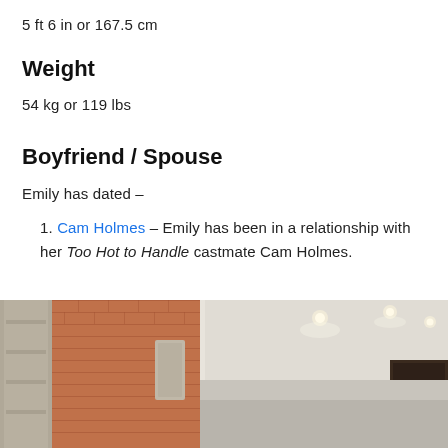5 ft 6 in or 167.5 cm
Weight
54 kg or 119 lbs
Boyfriend / Spouse
Emily has dated –
Cam Holmes – Emily has been in a relationship with her Too Hot to Handle castmate Cam Holmes.
[Figure (photo): Exterior photo of a building showing a brick facade with stone columns on the left and a covered entrance with recessed lighting on the right side.]